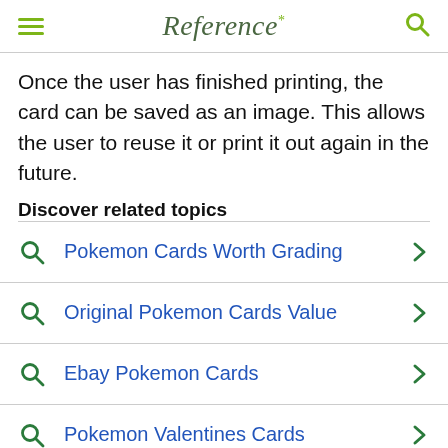Reference*
Once the user has finished printing, the card can be saved as an image. This allows the user to reuse it or print it out again in the future.
Discover related topics
Pokemon Cards Worth Grading
Original Pokemon Cards Value
Ebay Pokemon Cards
Pokemon Valentines Cards
Gold Pokemon Cards